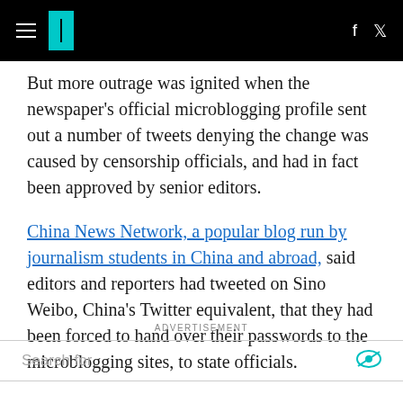[HuffPost navigation header with hamburger menu, logo, Facebook and Twitter icons]
But more outrage was ignited when the newspaper's official microblogging profile sent out a number of tweets denying the change was caused by censorship officials, and had in fact been approved by senior editors.
China News News Network, a popular blog run by journalism students in China and abroad, said editors and reporters had tweeted on Sino Weibo, China's Twitter equivalent, that they had been forced to hand over their passwords to the microblogging sites, to state officials.
ADVERTISEMENT
Search for